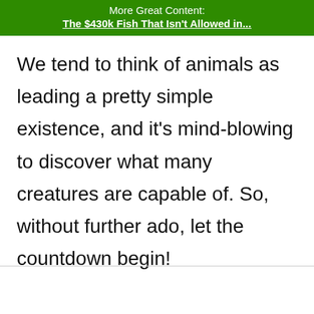More Great Content:
The $430k Fish That Isn't Allowed in...
We tend to think of animals as leading a pretty simple existence, and it's mind-blowing to discover what many creatures are capable of. So, without further ado, let the countdown begin!